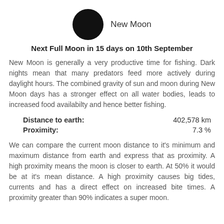[Figure (illustration): Black filled circle representing a New Moon phase, with the label 'New Moon' to its right]
Next Full Moon in 15 days on 10th September
New Moon is generally a very productive time for fishing. Dark nights mean that many predators feed more actively during daylight hours. The combined gravity of sun and moon during New Moon days has a stronger effect on all water bodies, leads to increased food availabilty and hence better fishing.
|  |  |
| --- | --- |
| Distance to earth: | 402,578 km |
| Proximity: | 7.3 % |
We can compare the current moon distance to it's minimum and maximum distance from earth and express that as proximity. A high proximity means the moon is closer to earth. At 50% it would be at it's mean distance. A high proximity causes big tides, currents and has a direct effect on increased bite times. A proximity greater than 90% indicates a super moon.